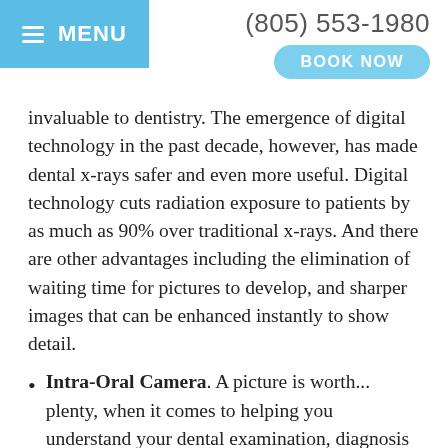MENU | (805) 553-1980 | BOOK NOW
invaluable to dentistry. The emergence of digital technology in the past decade, however, has made dental x-rays safer and even more useful. Digital technology cuts radiation exposure to patients by as much as 90% over traditional x-rays. And there are other advantages including the elimination of waiting time for pictures to develop, and sharper images that can be enhanced instantly to show detail.
Intra-Oral Camera. A picture is worth... plenty, when it comes to helping you understand your dental examination, diagnosis and treatment! With these tiny cameras, you can see what the dentist sees, on a small